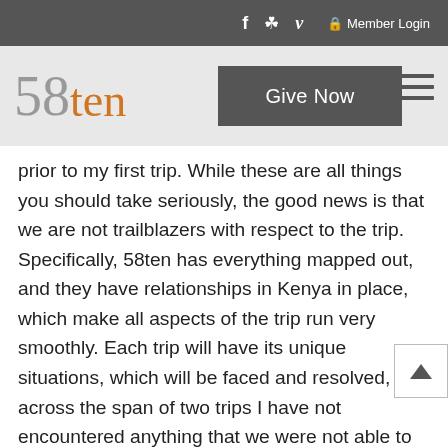f  [camera]  v  [lock] Member Login
[Figure (logo): 58ten logo with stylized numbers and orange text]
Give Now
prior to my first trip. While these are all things you should take seriously, the good news is that we are not trailblazers with respect to the trip. Specifically, 58ten has everything mapped out, and they have relationships in Kenya in place, which make all aspects of the trip run very smoothly. Each trip will have its unique situations, which will be faced and resolved, but across the span of two trips I have not encountered anything that we were not able to work through. If you follow 58ten’s pre-trip planning instructions, you will be well prepared for any challenges which you face. To